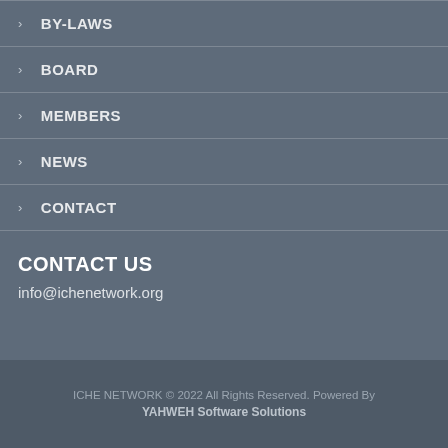> BY-LAWS
> BOARD
> MEMBERS
> NEWS
> CONTACT
CONTACT US
info@ichenetwork.org
ICHE NETWORK © 2022 All Rights Reserved. Powered By YAHWEH Software Solutions